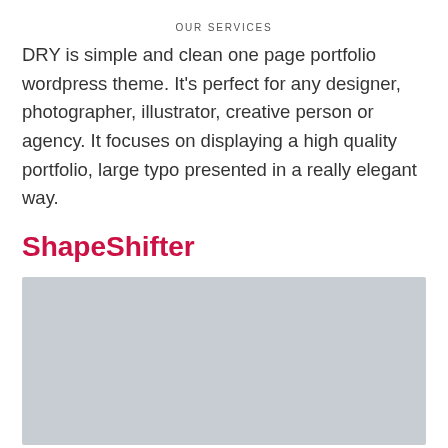OUR SERVICES
DRY is simple and clean one page portfolio wordpress theme. It's perfect for any designer, photographer, illustrator, creative person or agency. It focuses on displaying a high quality portfolio, large typo presented in a really elegant way.
ShapeShifter
[Figure (photo): Gray placeholder image block]